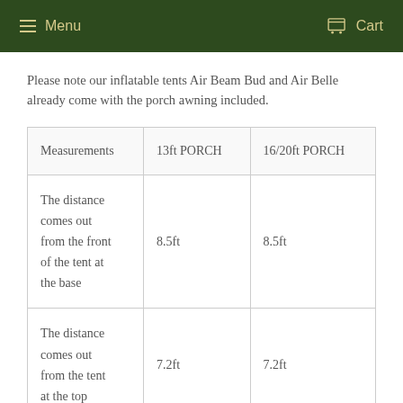Menu  Cart
Please note our inflatable tents Air Beam Bud and Air Belle already come with the porch awning included.
| Measurements | 13ft PORCH | 16/20ft PORCH |
| --- | --- | --- |
| The distance comes out from the front of the tent at the base | 8.5ft | 8.5ft |
| The distance comes out from the tent at the top | 7.2ft | 7.2ft |